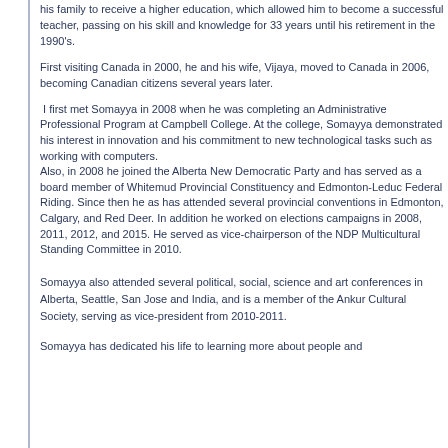his family to receive a higher education, which allowed him to become a successful teacher, passing on his skill and knowledge for 33 years until his retirement in the 1990's.
First visiting Canada in 2000, he and his wife, Vijaya, moved to Canada in 2006, becoming Canadian citizens several years later.
I first met Somayya in 2008 when he was completing an Administrative Professional Program at Campbell College. At the college, Somayya demonstrated his interest in innovation and his commitment to new technological tasks such as working with computers. Also, in 2008 he joined the Alberta New Democratic Party and has served as a board member of Whitemud Provincial Constituency and Edmonton-Leduc Federal Riding. Since then he as has attended several provincial conventions in Edmonton, Calgary, and Red Deer. In addition he worked on elections campaigns in 2008, 2011, 2012, and 2015. He served as vice-chairperson of the NDP Multicultural Standing Committee in 2010.
Somayya also attended several political, social, science and art conferences in Alberta, Seattle, San Jose and India, and is a member of the Ankur Cultural Society, serving as vice-president from 2010-2011.
Somayya has dedicated his life to learning more about people and